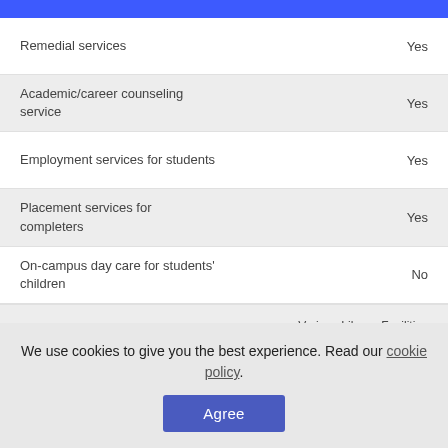| Service | Value |
| --- | --- |
| Remedial services | Yes |
| Academic/career counseling service | Yes |
| Employment services for students | Yes |
| Placement services for completers | Yes |
| On-campus day care for students' children | No |
| Library facilities at institution | Various Library Facilities Provided |
We use cookies to give you the best experience. Read our cookie policy.
Agree